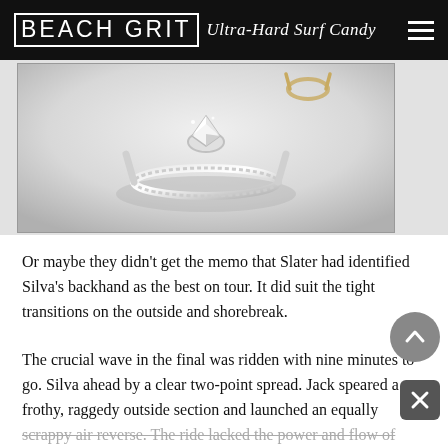BEACH GRIT Ultra-Hard Surf Candy
[Figure (photo): Close-up photo of a diamond solitaire engagement ring on a light gray background, with another ring partially visible in the upper right corner]
Or maybe they didn't get the memo that Slater had identified Silva's backhand as the best on tour. It did suit the tight transitions on the outside and shorebreak.
The crucial wave in the final was ridden with nine minutes to go. Silva ahead by a clear two-point spread. Jack speared a frothy, raggedy outside section and launched an equally scrappy air reverse. The ride lacked the power and flow of Silva but judges paid the repertoire, which had the full diversity quotient